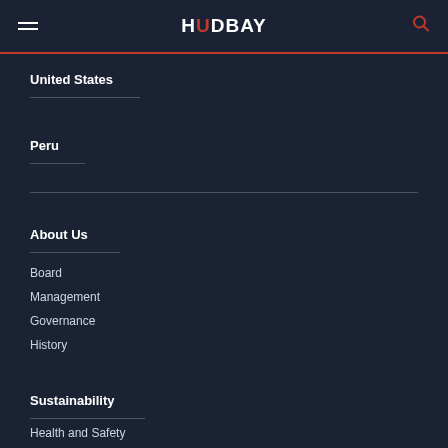HUDBAY
United States
Peru
About Us
Board
Management
Governance
History
Sustainability
Health and Safety